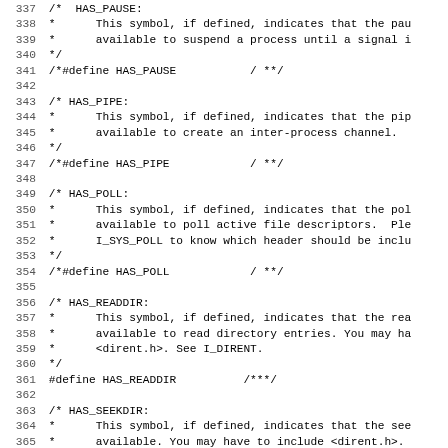Source code listing lines 337-369, C header file with HAS_PAUSE, HAS_PIPE, HAS_POLL, HAS_READDIR, HAS_SEEKDIR, HAS_TELLDIR symbol definitions